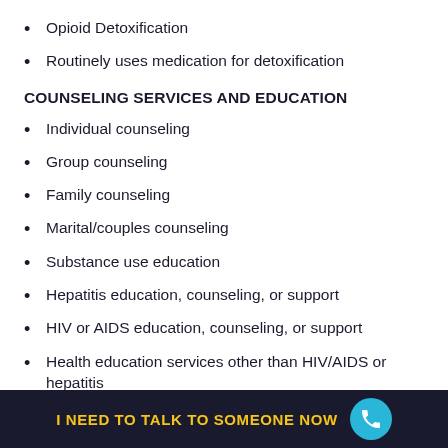Opioid Detoxification
Routinely uses medication for detoxification
COUNSELING SERVICES AND EDUCATION
Individual counseling
Group counseling
Family counseling
Marital/couples counseling
Substance use education
Hepatitis education, counseling, or support
HIV or AIDS education, counseling, or support
Health education services other than HIV/AIDS or hepatitis
I NEED TO TALK TO SOMEONE NOW